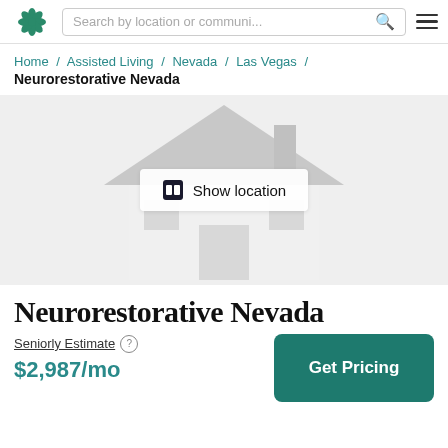Search by location or communi...
Home / Assisted Living / Nevada / Las Vegas /
Neurorestorative Nevada
[Figure (illustration): Gray illustrated house placeholder image with 'Show location' button overlay]
Neurorestorative Nevada
Seniorly Estimate  $2,987/mo
Get Pricing